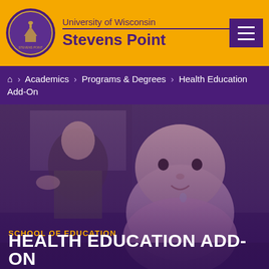University of Wisconsin Stevens Point
🏠 › Academics › Programs & Degrees › Health Education Add-On
[Figure (photo): A man holding a baby in a pink outfit in a classroom setting, with a purple overlay. Text overlay reads 'SCHOOL OF EDUCATION' and 'HEALTH EDUCATION ADD-ON'.]
SCHOOL OF EDUCATION
HEALTH EDUCATION ADD-ON